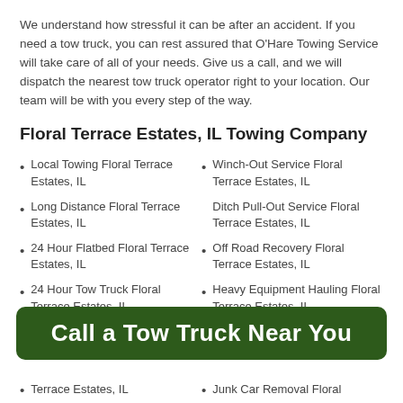We understand how stressful it can be after an accident. If you need a tow truck, you can rest assured that O'Hare Towing Service will take care of all of your needs. Give us a call, and we will dispatch the nearest tow truck operator right to your location. Our team will be with you every step of the way.
Floral Terrace Estates, IL Towing Company
Local Towing Floral Terrace Estates, IL
Winch-Out Service Floral Terrace Estates, IL
Long Distance Floral Terrace Estates, IL
Ditch Pull-Out Service Floral Terrace Estates, IL
24 Hour Flatbed Floral Terrace Estates, IL
Off Road Recovery Floral Terrace Estates, IL
24 Hour Tow Truck Floral Terrace Estates, IL
Heavy Equipment Hauling Floral Terrace Estates, IL
Call a Tow Truck Near You
Terrace Estates, IL
Junk Car Removal Floral